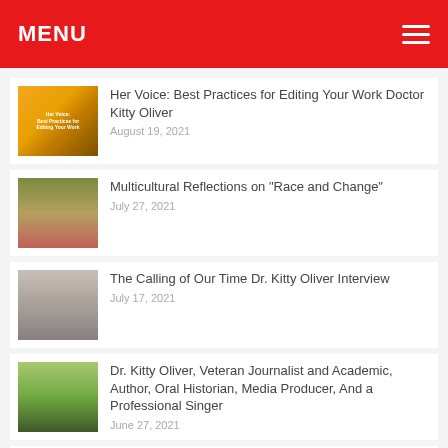MENU
Her Voice: Best Practices for Editing Your Work Doctor Kitty Oliver — August 19, 2021
Multicultural Reflections on "Race and Change" — July 27, 2021
The Calling of Our Time Dr. Kitty Oliver Interview — July 17, 2021
Dr. Kitty Oliver, Veteran Journalist and Academic, Author, Oral Historian, Media Producer, And a Professional Singer — June 27, 2021
The Race and Change Initiative — June 20, 2021